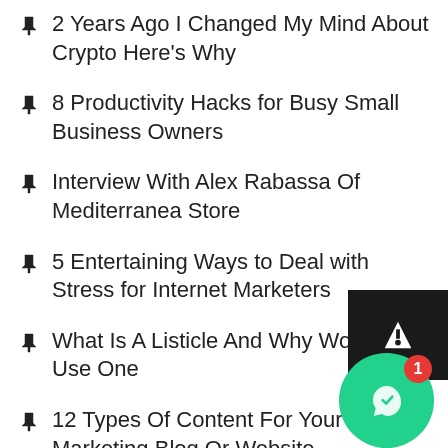2 Years Ago I Changed My Mind About Crypto Here's Why
8 Productivity Hacks for Busy Small Business Owners
Interview With Alex Rabassa Of Mediterranea Store
5 Entertaining Ways to Deal with Stress for Internet Marketers
What Is A Listicle And Why Would You Use One
12 Types Of Content For Your Digital Marketing Blog Or Website
Are You Going Broke Trying To Start An Online Business?